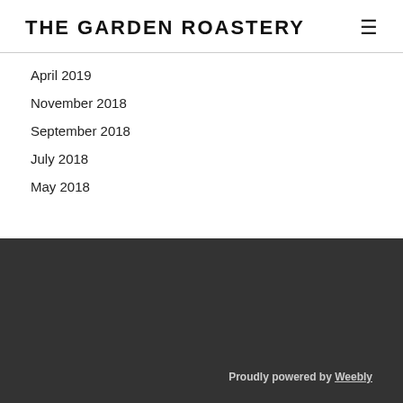THE GARDEN ROASTERY
April 2019
November 2018
September 2018
July 2018
May 2018
Proudly powered by Weebly